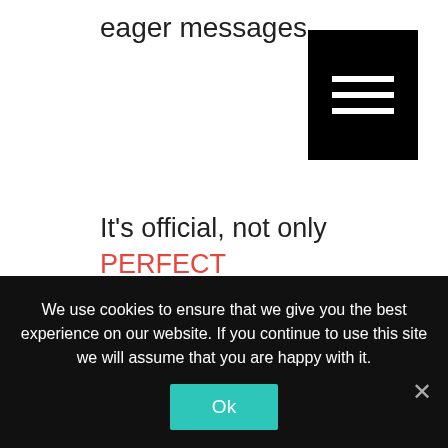eager messages…
It's official, not only PERFECT PRONUNCIATION IS READY but so is the new MEMBERSHIP FORMAT! So now you have options: you can either buy this new course full price and it's yours for ever, or you can become a monthly member (starting at $10 / month) via our 3 different
We use cookies to ensure that we give you the best experience on our website. If you continue to use this site we will assume that you are happy with it.
Ok